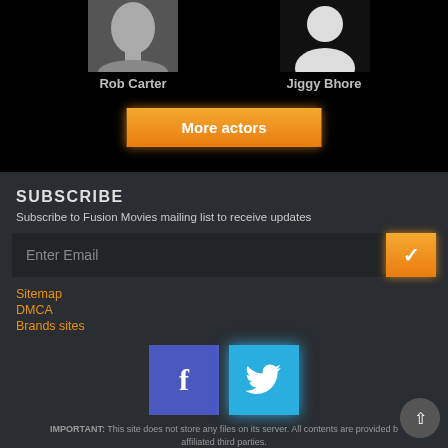[Figure (photo): Actor photo of Rob Carter - grayscale headshot]
Rob Carter
[Figure (illustration): Generic avatar/silhouette placeholder icon for Jiggy Bhore]
Jiggy Bhore
More actors
SUBSCRIBE
Subscribe to Fusion Movies mailing list to receive updates
Enter Email
Sitemap
DMCA
Brands sites
[Figure (logo): Facebook logo button (blue square with white f)]
[Figure (logo): Twitter logo button (blue square with white bird)]
IMPORTANT: This site does not store any files on its server. All contents are provided by affiliated third parties.